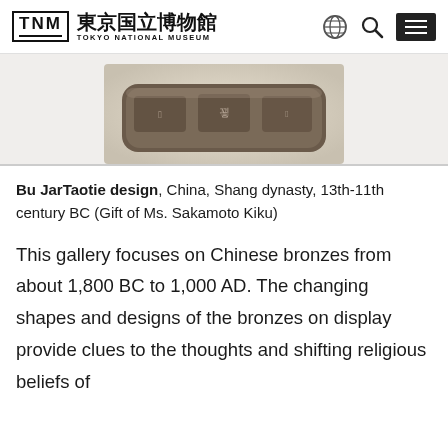東京国立博物館 TOKYO NATIONAL MUSEUM
[Figure (photo): Partial view of a bronze artifact (Bu Jar with Taotie design) from ancient China, showing embossed inscriptions on a dark bronze band/ring shape, displayed against a white/light background.]
Bu JarTaotie design, China, Shang dynasty, 13th-11th century BC (Gift of Ms. Sakamoto Kiku)
This gallery focuses on Chinese bronzes from about 1,800 BC to 1,000 AD. The changing shapes and designs of the bronzes on display provide clues to the thoughts and shifting religious beliefs of